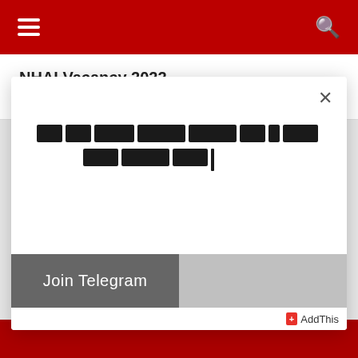Navigation bar with hamburger menu and search icon
NHAI Vacancy 2022
June 29, 2022 / Sachin
[Figure (screenshot): Modal popup overlay with Hindi text, Join Telegram button, and close (x) button. Hindi text reads promotional content. Bottom has AddThis sharing widget.]